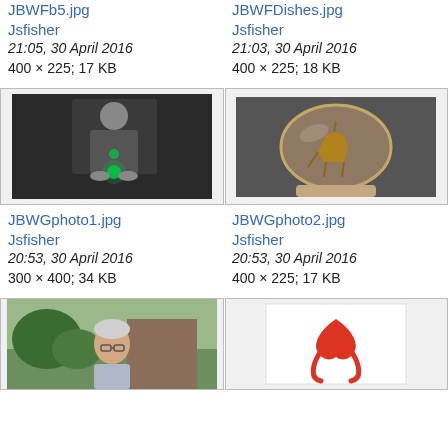JBWFb5.jpg
JBWFDishes.jpg
Jsfisher
Jsfisher
21:05, 30 April 2016
21:03, 30 April 2016
400 × 225; 17 KB
400 × 225; 18 KB
[Figure (photo): Man holding a glowing green object in a dark room]
[Figure (photo): Close-up of a glass vessel with a horse figure visible inside]
JBWGphoto1.jpg
JBWGphoto2.jpg
Jsfisher
Jsfisher
20:53, 30 April 2016
20:53, 30 April 2016
300 × 400; 34 KB
400 × 225; 17 KB
[Figure (photo): Elderly person with glasses outdoors near a building with foliage]
[Figure (illustration): Red ribbon symbol on white background]